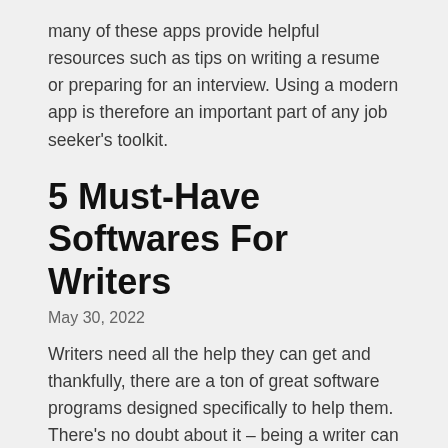many of these apps provide helpful resources such as tips on writing a resume or preparing for an interview. Using a modern app is therefore an important part of any job seeker's toolkit.
5 Must-Have Softwares For Writers
May 30, 2022
Writers need all the help they can get and thankfully, there are a ton of great software programs designed specifically to help them. There's no doubt about it – being a writer can be tough. And while there's no one single piece of software that can magically turn someone into a successful author, there are definitely some programs out there that can make the process easier. In this post, we'll take a look at five softwares that